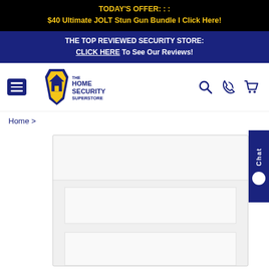TODAY'S OFFER: : : $40 Ultimate JOLT Stun Gun Bundle I Click Here!
THE TOP REVIEWED SECURITY STORE: CLICK HERE To See Our Reviews!
[Figure (logo): The Home Security Superstore logo with shield icon, hamburger menu, search, phone, and cart icons in navigation bar]
Home >
[Figure (photo): White/light gray safe or security box product image, partially cropped, with a chat widget on the right side]